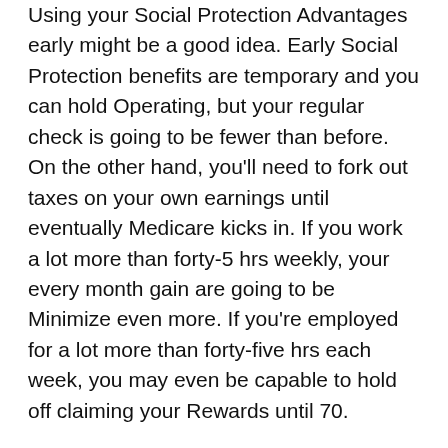Using your Social Protection Advantages early might be a good idea. Early Social Protection benefits are temporary and you can hold Operating, but your regular check is going to be fewer than before. On the other hand, you'll need to fork out taxes on your own earnings until eventually Medicare kicks in. If you work a lot more than forty-5 hrs weekly, your every month gain are going to be Minimize even more. If you're employed for a lot more than forty-five hrs each week, you may even be capable to hold off claiming your Rewards until 70.
You are going to also need to ascertain when to start receiving your Added benefits. Some states have a bare minimum age ahead of you can begin amassing your Positive aspects. You'll need to ascertain when you can start drawing Gains and when they will be completely diminished. There are lots of ways to determine your retirement Added benefits. Consult the Calculating Your Retirement Benefits brochure To learn more. Once you've made a decision the amount you'll need to retire at, the subsequent action is